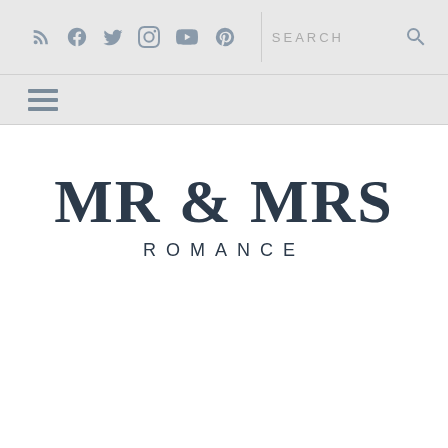Social icons (RSS, Facebook, Twitter, Instagram, YouTube, Pinterest), Search bar
[Figure (logo): MR & MRS ROMANCE logo with serif font in dark navy color]
MR & MRS ROMANCE